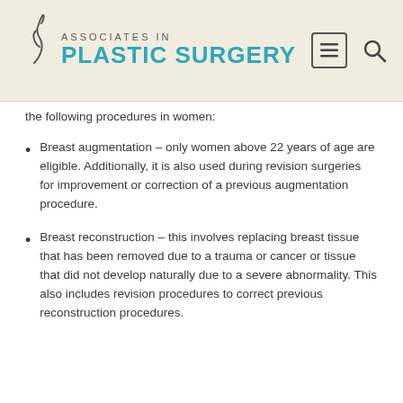[Figure (logo): Associates in Plastic Surgery logo with teal text and stylized figure]
the following procedures in women:
Breast augmentation – only women above 22 years of age are eligible. Additionally, it is also used during revision surgeries for improvement or correction of a previous augmentation procedure.
Breast reconstruction – this involves replacing breast tissue that has been removed due to a trauma or cancer or tissue that did not develop naturally due to a severe abnormality. This also includes revision procedures to correct previous reconstruction procedures.